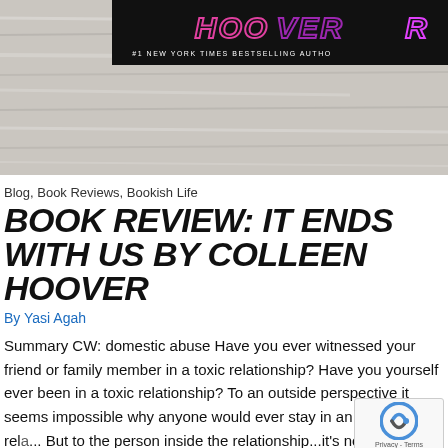[Figure (photo): Website header banner with wood texture background and Colleen Hoover author logo/banner at top center reading '#1 NEW YORK TIMES BESTSELLING AUTHOR']
Blog, Book Reviews, Bookish Life
BOOK REVIEW: IT ENDS WITH US BY COLLEEN HOOVER
By Yasi Agah
Summary CW: domestic abuse Have you ever witnessed your friend or family member in a toxic relationship? Have you yourself ever been in a toxic relationship? To an outside perspective it seems impossible why anyone would ever stay in an unhealthy rel... But to the person inside the relationship...it's not that easy.